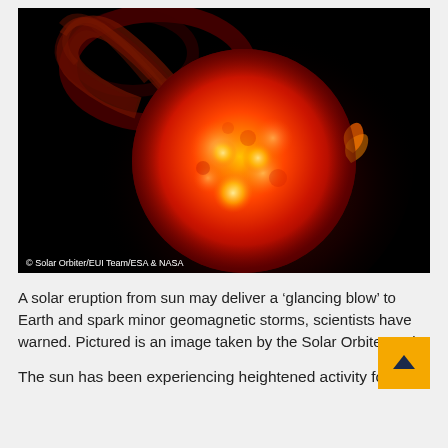[Figure (photo): Image of the sun taken by the Solar Orbiter probe showing a large solar eruption/coronal mass ejection extending from the upper left of the solar disk. The sun appears bright orange-red against a black background with visible surface detail and a large plasma filament erupting outward to the upper left.]
© Solar Orbiter/EUI Team/ESA & NASA
A solar eruption from sun may deliver a ‘glancing blow’ to Earth and spark minor geomagnetic storms, scientists have warned. Pictured is an image taken by the Solar Orbiter probe
The sun has been experiencing heightened activity for